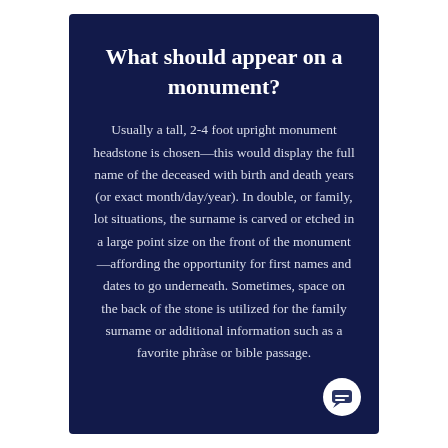What should appear on a monument?
Usually a tall, 2-4 foot upright monument headstone is chosen—this would display the full name of the deceased with birth and death years (or exact month/day/year). In double, or family, lot situations, the surname is carved or etched in a large point size on the front of the monument—affording the opportunity for first names and dates to go underneath. Sometimes, space on the back of the stone is utilized for the family surname or additional information such as a favorite phrase or bible passage.